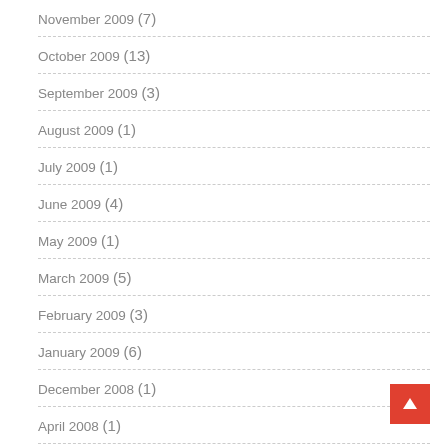November 2009 (7)
October 2009 (13)
September 2009 (3)
August 2009 (1)
July 2009 (1)
June 2009 (4)
May 2009 (1)
March 2009 (5)
February 2009 (3)
January 2009 (6)
December 2008 (1)
April 2008 (1)